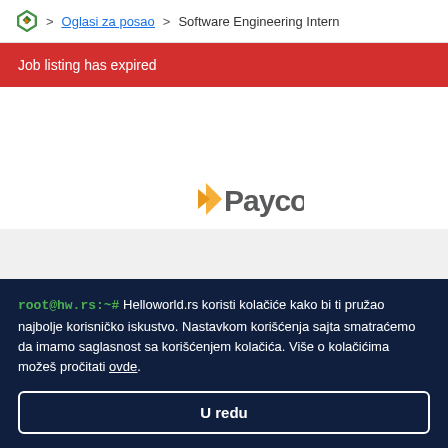Oglasi za posao > Software Engineering Intern
Job listing has expired
[Figure (logo): Paycor company logo with orange arrow accent]
root@hw.rs:~# Helloworld.rs koristi kolačiće kako bi ti pružao najbolje korisničko iskustvo. Nastavkom korišćenja sajta smatraćemo da imamo saglasnost sa korišćenjem kolačića. Više o kolačićima možeš pročitati ovde.
U redu
26.05.2022.